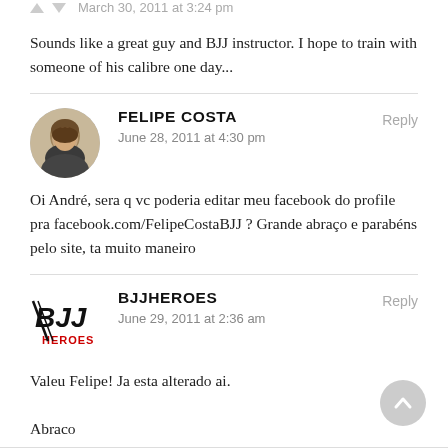March 30, 2011 at 3:24 pm
Sounds like a great guy and BJJ instructor. I hope to train with someone of his calibre one day...
FELIPE COSTA
June 28, 2011 at 4:30 pm
Reply
Oi André, sera q vc poderia editar meu facebook do profile pra facebook.com/FelipeCostaBJJ ? Grande abraço e parabéns pelo site, ta muito maneiro
BJJHEROES
June 29, 2011 at 2:36 am
Reply
Valeu Felipe! Ja esta alterado ai.

Abraco